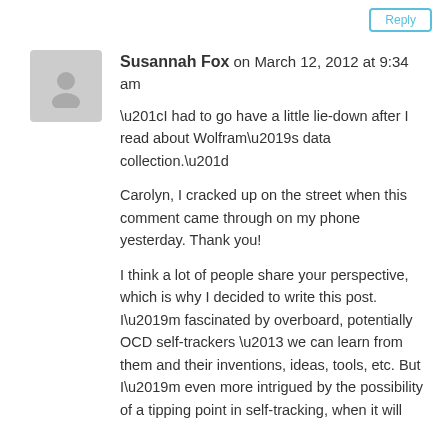Reply button (top right)
Susannah Fox on March 12, 2012 at 9:34 am
“I had to go have a little lie-down after I read about Wolfram’s data collection.”

Carolyn, I cracked up on the street when this comment came through on my phone yesterday. Thank you!

I think a lot of people share your perspective, which is why I decided to write this post. I’m fascinated by overboard, potentially OCD self-trackers – we can learn from them and their inventions, ideas, tools, etc. But I’m even more intrigued by the possibility of a tipping point in self-tracking, when it will